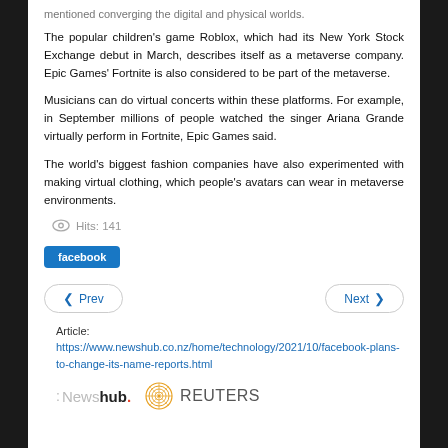mentioned converging the digital and physical worlds.
The popular children's game Roblox, which had its New York Stock Exchange debut in March, describes itself as a metaverse company. Epic Games' Fortnite is also considered to be part of the metaverse.
Musicians can do virtual concerts within these platforms. For example, in September millions of people watched the singer Ariana Grande virtually perform in Fortnite, Epic Games said.
The world's biggest fashion companies have also experimented with making virtual clothing, which people's avatars can wear in metaverse environments.
Hits: 141
facebook
Prev    Next
Article:
https://www.newshub.co.nz/home/technology/2021/10/facebook-plans-to-change-its-name-reports.html
[Figure (logo): Newshub and Reuters logos]